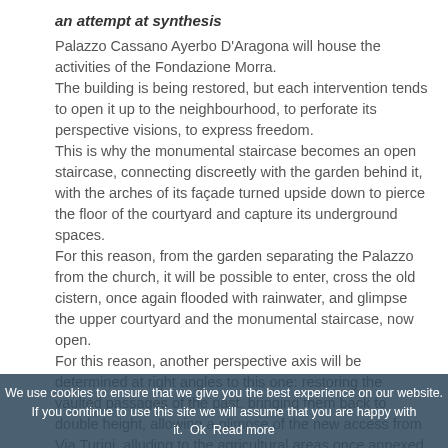an attempt at synthesis
Palazzo Cassano Ayerbo D'Aragona will house the activities of the Fondazione Morra.
The building is being restored, but each intervention tends to open it up to the neighbourhood, to perforate its perspective visions, to express freedom.
This is why the monumental staircase becomes an open staircase, connecting discreetly with the garden behind it, with the arches of its façade turned upside down to pierce the floor of the courtyard and capture its underground spaces.
For this reason, from the garden separating the Palazzo from the church, it will be possible to enter, cross the old cistern, once again flooded with rainwater, and glimpse the upper courtyard and the monumental staircase, now open.
For this reason, another perspective axis will be determined at right angles to this one: restoring the vaulted passages of the past, bringing them back to double height, allowing a glimpse of the new access from Via Turini, alluding to the agricultural areas once annexed to the Palazzo.
Museum spaces, laboratories, accommodation for students and artists: at the end of the transformation, we will have a restored old palazzo permeated by a breath of modernity, open
We use cookies to ensure that we give you the best experience on our website. If you continue to use this site we will assume that you are happy with it.  Ok  Read more